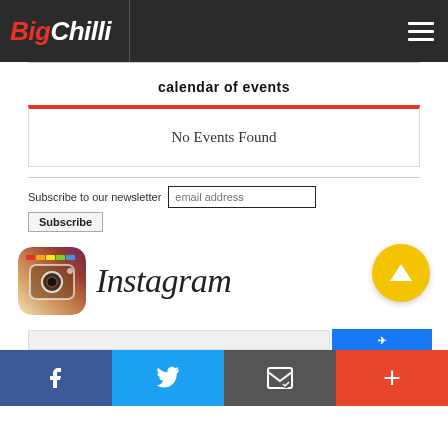BigChilli [navigation header with hamburger menu]
calendar of events
No Events Found
Subscribe to our newsletter
[Figure (logo): Instagram logo with camera icon and Instagram wordmark text]
Social share bar: Facebook, Twitter, Email, Plus